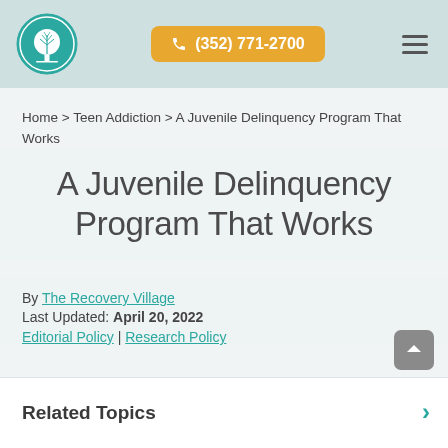[Figure (logo): The Recovery Village logo: teal circular badge with white tree icon]
(352) 771-2700
Home > Teen Addiction > A Juvenile Delinquency Program That Works
A Juvenile Delinquency Program That Works
By The Recovery Village
Last Updated: April 20, 2022
Editorial Policy | Research Policy
Related Topics